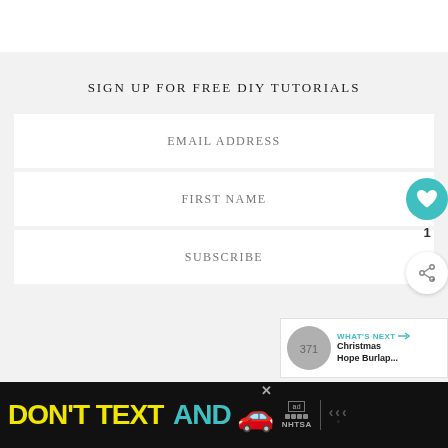SIGN UP FOR FREE DIY TUTORIALS
EMAIL ADDRESS
FIRST NAME
SUBSCRIBE
WHAT'S NEXT → Christmas Hope Burlap...
DON'T TEXT AND [car emoji] ad NHTSA